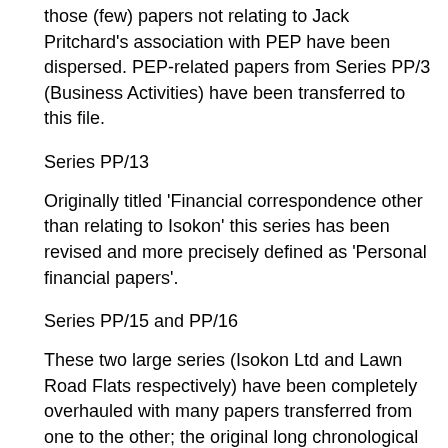those (few) papers not relating to Jack Pritchard's association with PEP have been dispersed. PEP-related papers from Series PP/3 (Business Activities) have been transferred to this file.
Series PP/13
Originally titled 'Financial correspondence other than relating to Isokon' this series has been revised and more precisely defined as 'Personal financial papers'.
Series PP/15 and PP/16
These two large series (Isokon Ltd and Lawn Road Flats respectively) have been completely overhauled with many papers transferred from one to the other; the original long chronological sequences have been classified to reflect the boundaries and evolution of the various Isokon companies and the projects associated